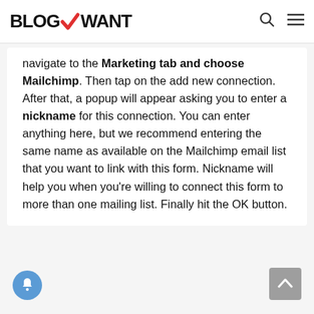BLOGVWANT
navigate to the Marketing tab and choose Mailchimp. Then tap on the add new connection. After that, a popup will appear asking you to enter a nickname for this connection. You can enter anything here, but we recommend entering the same name as available on the Mailchimp email list that you want to link with this form. Nickname will help you when you’re willing to connect this form to more than one mailing list. Finally hit the OK button.